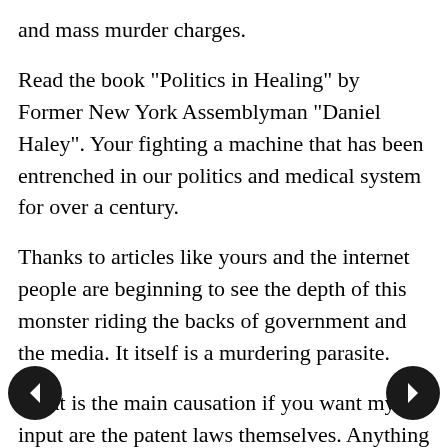and mass murder charges.
Read the book "Politics in Healing" by Former New York Assemblyman "Daniel Haley". Your fighting a machine that has been entrenched in our politics and medical system for over a century.
Thanks to articles like yours and the internet people are beginning to see the depth of this monster riding the backs of government and the media. It itself is a murdering parasite.
What is the main causation if you want my input are the patent laws themselves. Anything of nature is not suppose to be patented. That is why they make synthetic drugs out of chemicals. Because they can't patent natural cures. You want to get